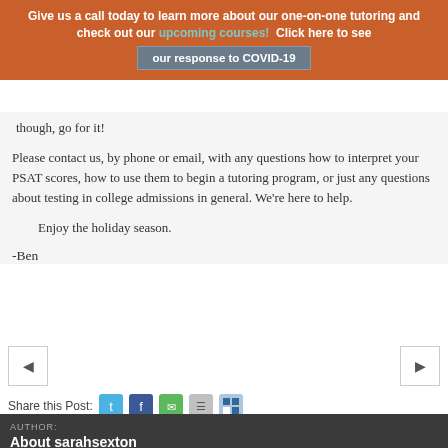Give us a call today to learn more about our one-on-one tutoring and check out our upcoming courses! Click here to see our response to COVID-19
though, go for it!
Please contact us, by phone or email, with any questions how to interpret your PSAT scores, how to use them to begin a tutoring program, or just any questions about testing in college admissions in general. We're here to help.
Enjoy the holiday season.
-Ben
Share this Post:
AUTHOR:
About sarahsexton